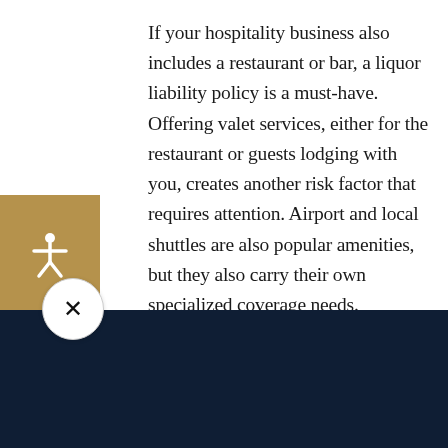If your hospitality business also includes a restaurant or bar, a liquor liability policy is a must-have. Offering valet services, either for the restaurant or guests lodging with you, creates another risk factor that requires attention. Airport and local shuttles are also popular amenities, but they also carry their own specialized coverage needs.
[Figure (illustration): Tan/gold square icon with white accessibility/person with arms outstretched symbol]
[Figure (illustration): White circular close button with X symbol]
aking insurance simple, convenient, and benef
Get a Quote
24/7 Client Center